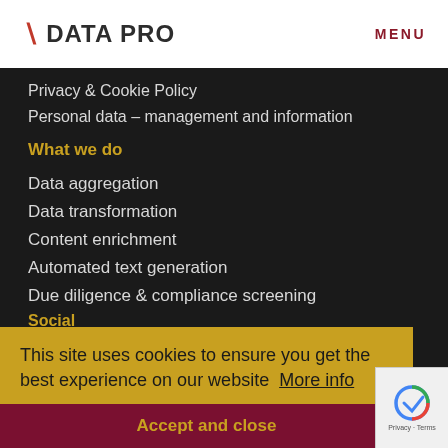A DATA PRO   MENU
Privacy & Cookie Policy
Personal data – management and information
What we do
Data aggregation
Data transformation
Content enrichment
Automated text generation
Due diligence & compliance screening
This site uses cookies to ensure you get the best experience on our website  More info
Accept and close
Social
LinkedIn
Twitter
Facebook